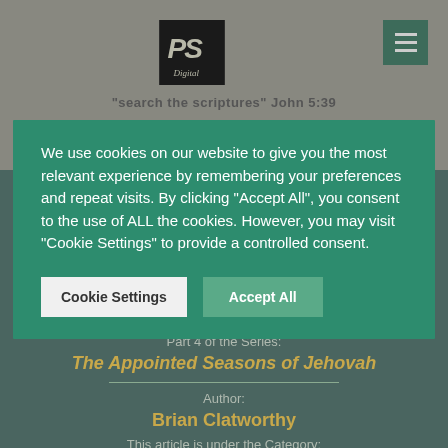[Figure (logo): PS Digital logo in black box with hamburger menu button, grey header background]
"search the scriptures" John 5:39
We use cookies on our website to give you the most relevant experience by remembering your preferences and repeat visits. By clicking "Accept All", you consent to the use of ALL the cookies. However, you may visit "Cookie Settings" to provide a controlled consent.
Cookie Settings
Accept All
1975 Volume 26 Issue 4
Part 4 of the Series:
The Appointed Seasons of Jehovah
Author:
Brian Clatworthy
This article is under the Category: